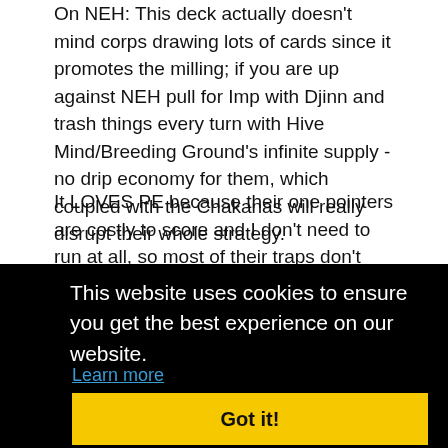On NEH: This deck actually doesn't mind corps drawing lots of cards since it promotes the milling; if you are up against NEH pull for Imp with Djinn and trash things every turn with Hive Mind/Breeding Ground's infinite supply - no drip economy for them, which coupled with the Chakanas will really disrupt their whole strategy.
It LOVES PE because their one pointers are costly to score and I don't need to run at all, so most of their traps don't function.
RP is also vulnerable because Archives and R&D are the only servers you care about in that match up, and their slow set up ...start ...et a ...you're ...if ...at ...g it, ...here.
This website uses cookies to ensure you get the best experience on our website.
Learn more
Got it!
Looked at Phermones (I've been wanting to make that card